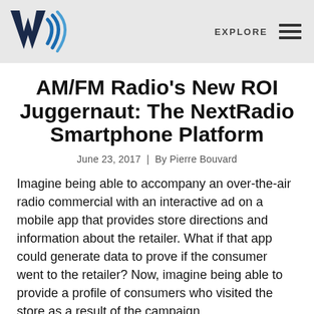EXPLORE
AM/FM Radio's New ROI Juggernaut: The NextRadio Smartphone Platform
June 23, 2017  |  By Pierre Bouvard
Imagine being able to accompany an over-the-air radio commercial with an interactive ad on a mobile app that provides store directions and information about the retailer. What if that app could generate data to prove if the consumer went to the retailer? Now, imagine being able to provide a profile of consumers who visited the store as a result of the campaign.